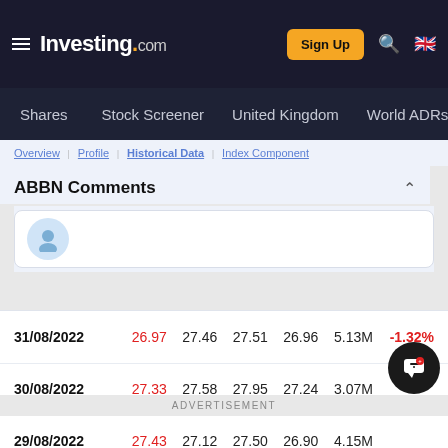Investing.com — Sign Up | Shares | Stock Screener | United Kingdom | World ADRs
ABBN Comments
[Figure (screenshot): Comment input box with user avatar icon]
| Date | Price | Open | High | Low | Vol | Change% |
| --- | --- | --- | --- | --- | --- | --- |
| 31/08/2022 | 26.97 | 27.46 | 27.51 | 26.96 | 5.13M | -1.32% |
| 30/08/2022 | 27.33 | 27.58 | 27.95 | 27.24 | 3.07M |  |
| 29/08/2022 | 27.43 | 27.12 | 27.50 | 26.90 | 4.15M |  |
ADVERTISEMENT